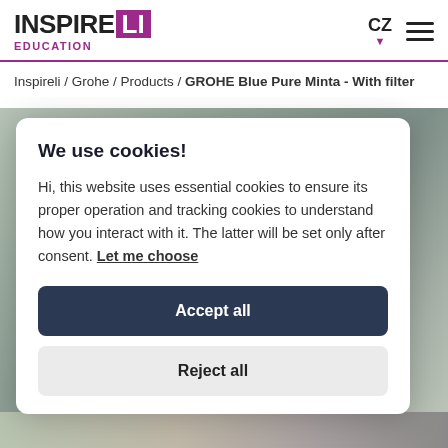INSPIRE LI EDUCATION — CZ [navigation]
Inspireli / Grohe / Products / GROHE Blue Pure Minta - With filter
[Figure (screenshot): Cookie consent modal dialog over a blurred product page background. Modal contains title 'We use cookies!', body text about cookies, 'Let me choose' link, 'Accept all' dark button, and 'Reject all' light button.]